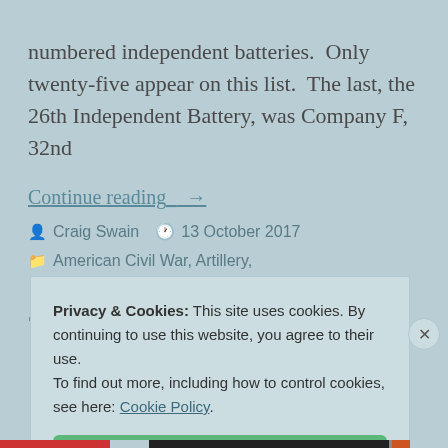numbered independent batteries. Only twenty-five appear on this list. The last, the 26th Independent Battery, was Company F, 32nd
Continue reading_ →
Craig Swain   13 October 2017
American Civil War, Artillery, Ordnance Summary Statements
13th Ohio Independent Battery,
Privacy & Cookies: This site uses cookies. By continuing to use this website, you agree to their use.
To find out more, including how to control cookies, see here: Cookie Policy.
Close and accept